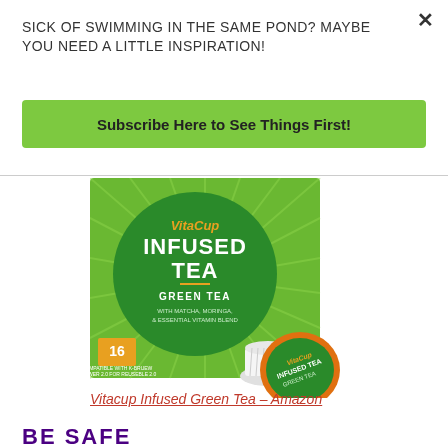SICK OF SWIMMING IN THE SAME POND? MAYBE YOU NEED A LITTLE INSPIRATION!
Subscribe Here to See Things First!
[Figure (photo): VitaCup Infused Tea Green Tea product box with K-cup pod. Green box showing VitaCup brand name, INFUSED TEA, GREEN TEA WITH MATCHA, MORINGA, & ESSENTIAL VITAMIN BLEND, 16 count. Orange K-cup pod visible in front-right.]
Vitacup Infused Green Tea – Amazon
BE SAFE